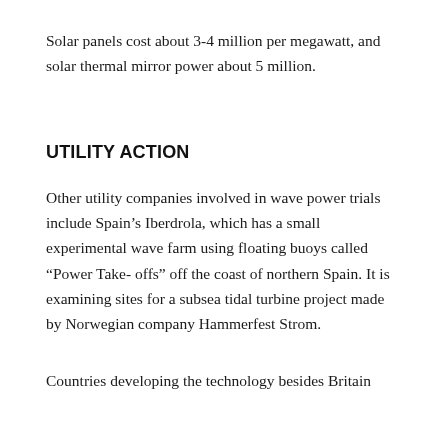Solar panels cost about 3-4 million per megawatt, and solar thermal mirror power about 5 million.
UTILITY ACTION
Other utility companies involved in wave power trials include Spain’s Iberdrola, which has a small experimental wave farm using floating buoys called “Power Take- offs” off the coast of northern Spain. It is examining sites for a subsea tidal turbine project made by Norwegian company Hammerfest Strom.
Countries developing the technology besides Britain